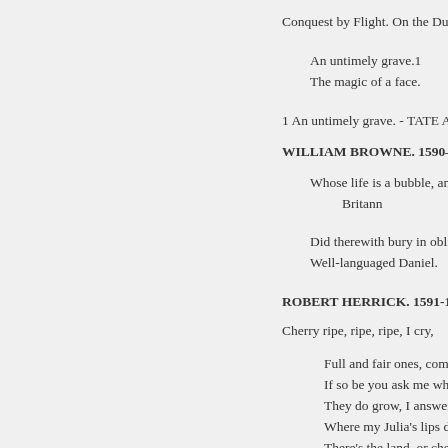Conquest by Flight. On the Du
An untimely grave.1
The magic of a face.
1 An untimely grave. - TATE AN
WILLIAM BROWNE. 1590–
Whose life is a bubble, and
Britann
Did therewith bury in oblivi
Well-languaged Daniel.
ROBERT HERRICK. 1591-16
Cherry ripe, ripe, ripe, I cry,
Full and fair ones, come a
If so be you ask me wher
They do grow, I answer, t
Where my Julia's lips do s
There's the land, or cherr
Some asked me where the